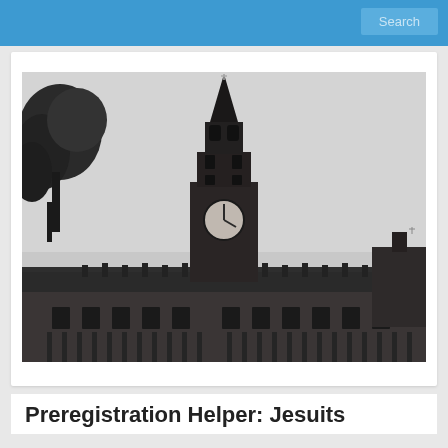Search
[Figure (photo): Black and white photograph of Georgetown University's Healy Hall, showing the iconic clock tower spire rising above the Gothic-style building facade, with trees visible on the left side and overcast sky in the background.]
Preregistration Helper: Jesuits